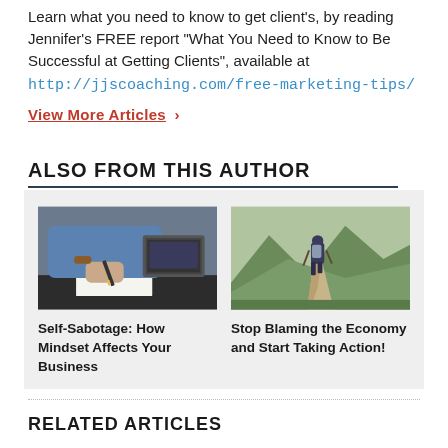Learn what you need to know to get client's, by reading Jennifer's FREE report "What You Need to Know to Be Successful at Getting Clients", available at
http://jjscoaching.com/free-marketing-tips/
View More Articles >
ALSO FROM THIS AUTHOR
[Figure (photo): Person writing at a desk with a laptop in the background]
Self-Sabotage: How Mindset Affects Your Business
[Figure (photo): Person with backpack hiking on a mountain trail]
Stop Blaming the Economy and Start Taking Action!
RELATED ARTICLES